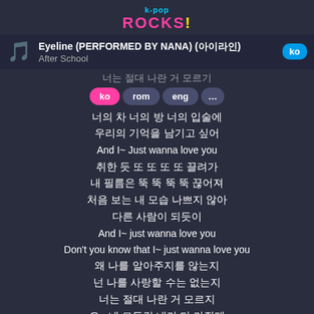k-pop ROCKS!
Eyeline (PERFORMED BY NANA) (아이라인)
After School
[Figure (screenshot): Language selector buttons: ko (active/pink), rom, eng, ...]
너의 차 너의 방 너의 입술에
우리의 기억을 남기고 싶어
And I~ Just wanna love you
취한 듯 또 또 또 또 끌려가
내 필름은 뚝 뚝 뚝 뚝 끊어져
처음 보는 내 모습 나쁘지 않아
다른 사람이 되듯이
And I~ just wanna love you
Don't you know that I~ just wanna love you
왜 나를 알아주지를 않는지
넌 나를 사랑할 수는 없는지
너는 절대 나란 거 모르지
오~ 네 모든걸 내가 다 가질래